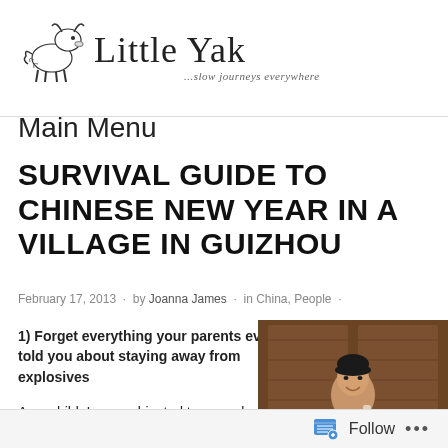[Figure (logo): Little Yak blog logo with yak illustration and cursive text 'Little Yak' with tagline '...slow journeys everywhere']
Main Menu
SURVIVAL GUIDE TO CHINESE NEW YEAR IN A VILLAGE IN GUIZHOU
February 17, 2013 · by Joanna James · in China, People ·
1) Forget everything your parents ever told you about staying away from explosives
As a child, I was subjected to annual
[Figure (photo): Photo of a smiling Asian woman standing in front of wooden doors]
Follow ...